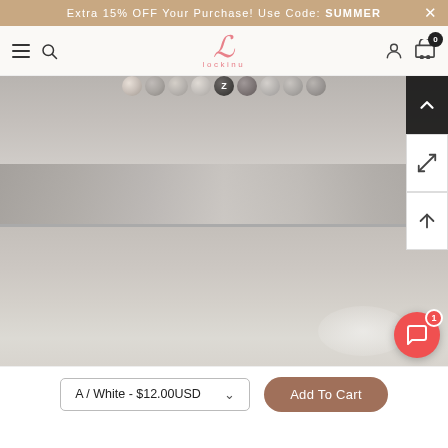Extra 15% OFF Your Purchase! Use Code: SUMMER
[Figure (screenshot): Website navigation bar with hamburger menu, search icon, Lockinu logo in script, user icon, and cart icon with badge showing 0]
[Figure (photo): Close-up product photo of beaded bracelet with stone and dark beads on a textured grey surface, split across two image panels with navigation/zoom controls on the right side]
A / White - $12.00USD
Add To Cart